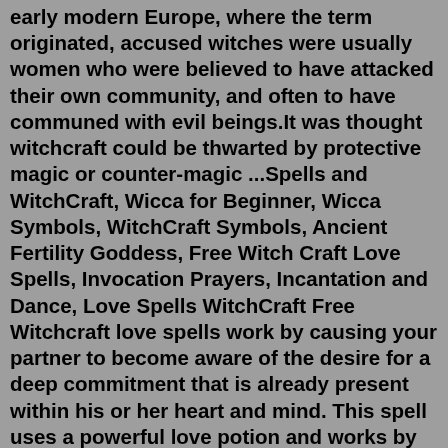early modern Europe, where the term originated, accused witches were usually women who were believed to have attacked their own community, and often to have communed with evil beings.It was thought witchcraft could be thwarted by protective magic or counter-magic ...Spells and WitchCraft, Wicca for Beginner, Wicca Symbols, WitchCraft Symbols, Ancient Fertility Goddess, Free Witch Craft Love Spells, Invocation Prayers, Incantation and Dance, Love Spells WitchCraft Free Witchcraft love spells work by causing your partner to become aware of the desire for a deep commitment that is already present within his or her heart and mind. This spell uses a powerful love potion and works by allowing you to align the power of your mind with natural, spiritual, and elemental forces to bring about the best possible future ...Oct 16, 2020 · Meditate on your healing intentions and picture the best outcome for 5-10 minutes. Continue this until you feel finished and that the spell has been cast, then snuff out the candle. For extra power, charge the jar in the full moon once